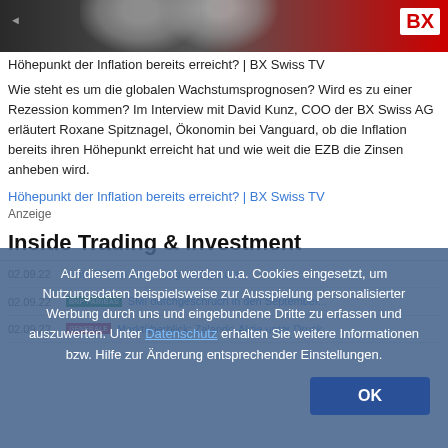[Figure (photo): Top banner image showing a person in a suit with BX Swiss TV branding and red background]
Höhepunkt der Inflation bereits erreicht? | BX Swiss TV
Wie steht es um die globalen Wachstumsprognosen? Wird es zu einer Rezession kommen? Im Interview mit David Kunz, COO der BX Swiss AG erläutert Roxane Spitznagel, Ökonomin bei Vanguard, ob die Inflation bereits ihren Höhepunkt erreicht hat und wie weit die EZB die Zinsen anheben wird.
Höhepunkt der Inflation bereits erreicht? | BX Swiss TV
Anzeige
Inside Trading & Investment
02.09.22 — eröte — D'Auto Forderung wird gekürzt
02.09.22 — SMI durchgeschruch in den — BNP Paribas — September...
02.09.22 — Societe Generale — Marktüberblick: Zalando-Aktie unter Druck
Auf diesem Angebot werden u.a. Cookies eingesetzt, um Nutzungsdaten beispielsweise zur Ausspielung personalisierter Werbung durch uns und eingebundene Dritte zu erfassen und auszuwerten. Unter Datenschutz erhalten Sie weitere Informationen bzw. Hilfe zur Änderung entsprechender Einstellungen.